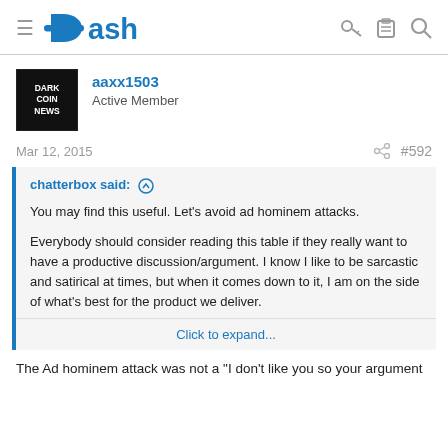Dash
aaxx1503
Active Member
Mar 12, 2015  #592
chatterbox said: ↑

You may find this useful. Let's avoid ad hominem attacks.

Everybody should consider reading this table if they really want to have a productive discussion/argument. I know I like to be sarcastic and satirical at times, but when it comes down to it, I am on the side of what's best for the product we deliver.

Click to expand...
The Ad hominem attack was not a "I don't like you so your argument